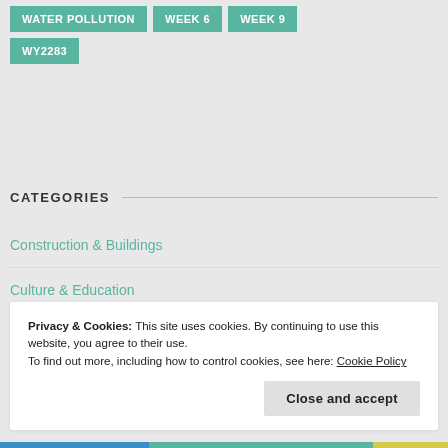WATER POLLUTION
WEEK 6
WEEK 9
WY2283
CATEGORIES
Construction & Buildings
Culture & Education
Dan's Presentation – Micro grids in Africa
Privacy & Cookies: This site uses cookies. By continuing to use this website, you agree to their use.
To find out more, including how to control cookies, see here: Cookie Policy
Close and accept